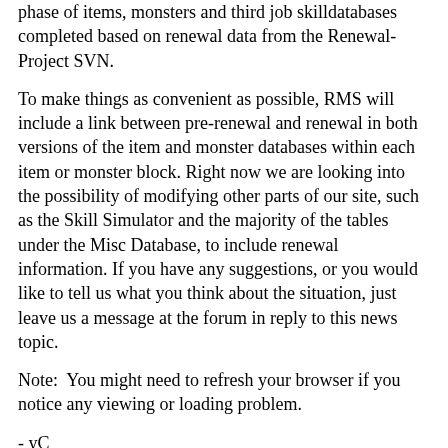phase of items, monsters and third job skilldatabases completed based on renewal data from the Renewal-Project SVN.
To make things as convenient as possible, RMS will include a link between pre-renewal and renewal in both versions of the item and monster databases within each item or monster block. Right now we are looking into the possibility of modifying other parts of our site, such as the Skill Simulator and the majority of the tables under the Misc Database, to include renewal information. If you have any suggestions, or you would like to tell us what you think about the situation, just leave us a message at the forum in reply to this news topic.
Note:  You might need to refresh your browser if you notice any viewing or loading problem.
- yC
Gankz:
Pretty neat that you guys are moving on to that. Personally I can't stand renewal one bit and I believe it killed the game, but good luck to you all!
Belldandy:
As long as the pre-renewal database doesn't go anywhere - ever - then I'm happy. pServers will adhere to renewal haters, too, so the